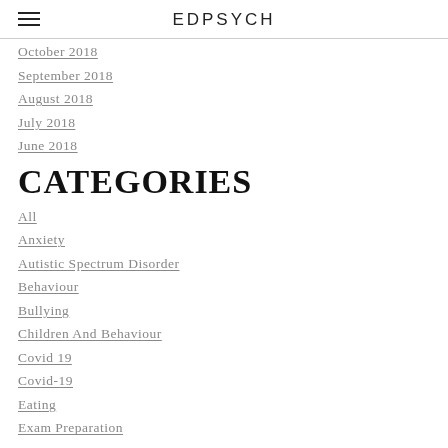EDPSYCH
October 2018
September 2018
August 2018
July 2018
June 2018
CATEGORIES
All
Anxiety
Autistic Spectrum Disorder
Behaviour
Bullying
Children And Behaviour
Covid 19
Covid-19
Eating
Exam Preparation